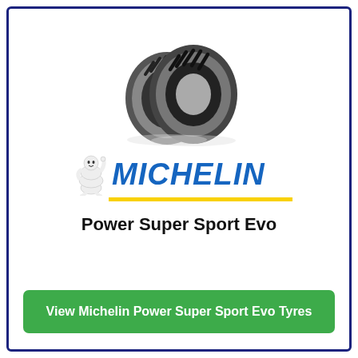[Figure (photo): Two Michelin motorcycle tyres (front and rear) shown upright side by side, silver/black coloring with sport tread pattern]
[Figure (logo): Michelin logo: Bibendum mascot figure on the left, bold italic blue MICHELIN text on the right, yellow underline bar below]
Power Super Sport Evo
View Michelin Power Super Sport Evo Tyres